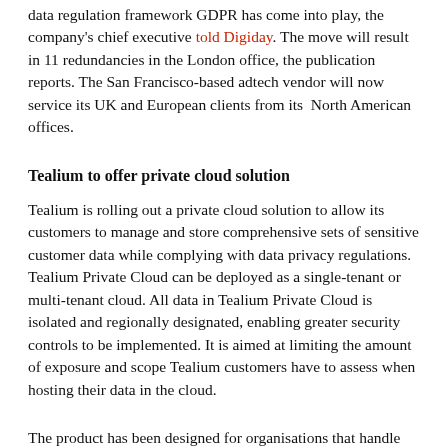data regulation framework GDPR has come into play, the company's chief executive told Digiday. The move will result in 11 redundancies in the London office, the publication reports. The San Francisco-based adtech vendor will now service its UK and European clients from its North American offices.
Tealium to offer private cloud solution
Tealium is rolling out a private cloud solution to allow its customers to manage and store comprehensive sets of sensitive customer data while complying with data privacy regulations. Tealium Private Cloud can be deployed as a single-tenant or multi-tenant cloud. All data in Tealium Private Cloud is isolated and regionally designated, enabling greater security controls to be implemented. It is aimed at limiting the amount of exposure and scope Tealium customers have to assess when hosting their data in the cloud.
The product has been designed for organisations that handle sensitive customer data or those that have to ensure compliance to data privacy regulations like the E...